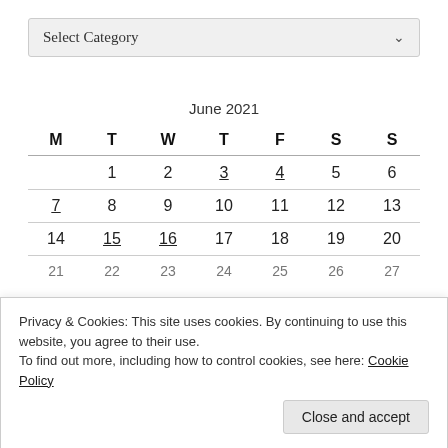[Figure (screenshot): Dropdown selector with label 'Select Category' and a chevron arrow on the right]
| M | T | W | T | F | S | S |
| --- | --- | --- | --- | --- | --- | --- |
|  | 1 | 2 | 3 | 4 | 5 | 6 |
| 7 | 8 | 9 | 10 | 11 | 12 | 13 |
| 14 | 15 | 16 | 17 | 18 | 19 | 20 |
| 21 | 22 | 23 | 24 | 25 | 26 | 27 |
Privacy & Cookies: This site uses cookies. By continuing to use this website, you agree to their use.
To find out more, including how to control cookies, see here: Cookie Policy
Close and accept